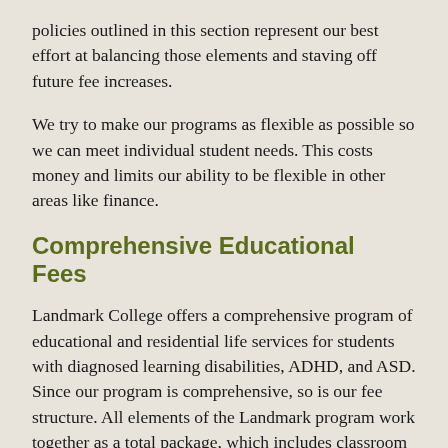policies outlined in this section represent our best effort at balancing those elements and staving off future fee increases.
We try to make our programs as flexible as possible so we can meet individual student needs. This costs money and limits our ability to be flexible in other areas like finance.
Comprehensive Educational Fees
Landmark College offers a comprehensive program of educational and residential life services for students with diagnosed learning disabilities, ADHD, and ASD. Since our program is comprehensive, so is our fee structure. All elements of the Landmark program work together as a total package, which includes classroom instruction, individual instruction, advising and a wide range of other educational services. Individual students may take varying numbers of credit hours from one